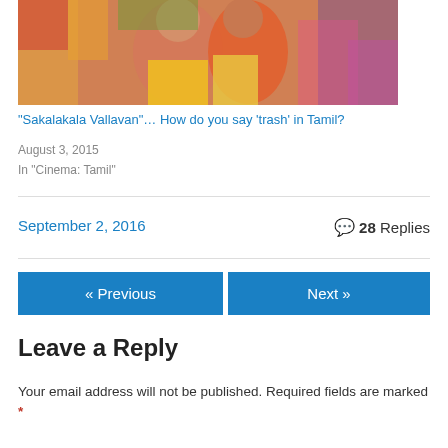[Figure (photo): Photo of two people in colorful traditional Indian attire at what appears to be a festival or outdoor event]
“Sakalakala Vallavan”… How do you say ‘trash’ in Tamil?
August 3, 2015
In "Cinema: Tamil"
September 2, 2016
28 Replies
« Previous
Next »
Leave a Reply
Your email address will not be published. Required fields are marked *